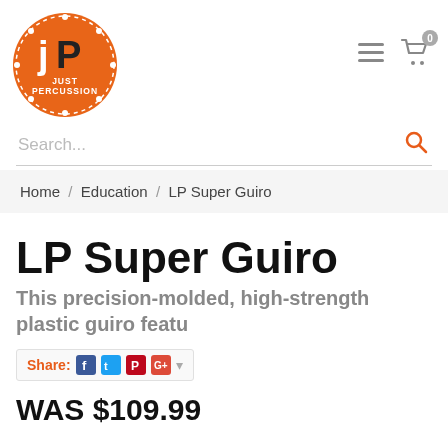[Figure (logo): Just Percussion logo — orange circle with JP letters and text JUST PERCUSSION]
Search...
Home / Education / LP Super Guiro
LP Super Guiro
This precision-molded, high-strength plastic guiro featu
Share:
WAS $109.99